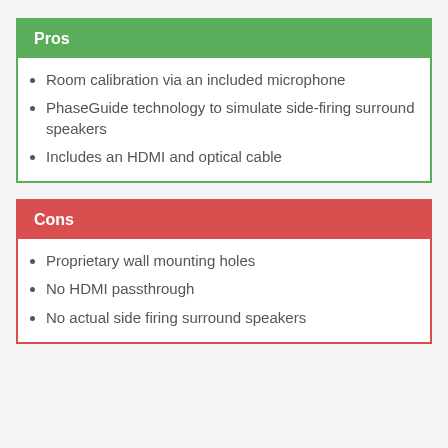Pros
Room calibration via an included microphone
PhaseGuide technology to simulate side-firing surround speakers
Includes an HDMI and optical cable
Cons
Proprietary wall mounting holes
No HDMI passthrough
No actual side firing surround speakers